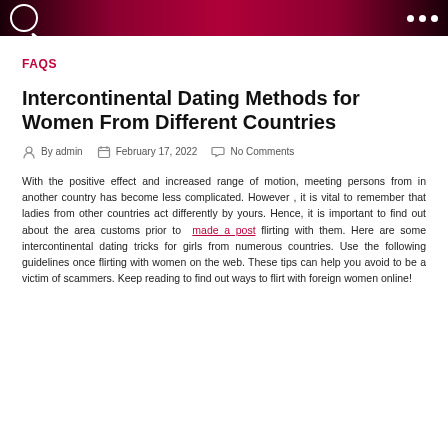FAQS
Intercontinental Dating Methods for Women From Different Countries
By admin   February 17, 2022   No Comments
With the positive effect and increased range of motion, meeting persons from in another country has become less complicated. However , it is vital to remember that ladies from other countries act differently by yours. Hence, it is important to find out about the area customs prior to made a post flirting with them. Here are some intercontinental dating tricks for girls from numerous countries. Use the following guidelines once flirting with women on the web. These tips can help you avoid to be a victim of scammers. Keep reading to find out ways to flirt with foreign women online!